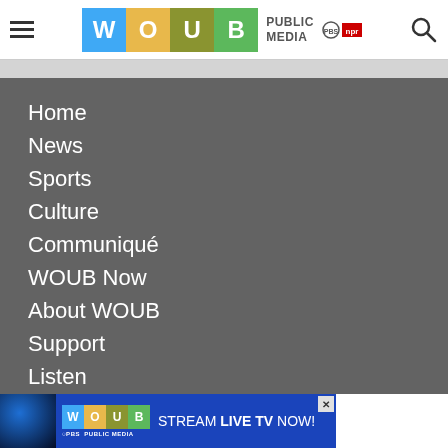WOUB Public Media — PBS NPR
Home
News
Sports
Culture
Communiqué
WOUB Now
About WOUB
Support
Listen
Learn
[Figure (screenshot): WOUB Public Media advertisement banner: WOUB logo, globe graphic, text STREAM LIVE TV NOW!]